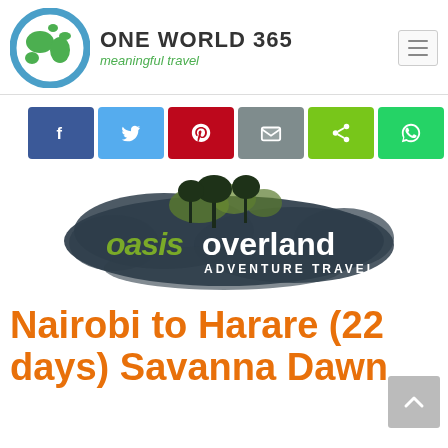[Figure (logo): One World 365 website header with globe logo, site name 'ONE WORLD 365', tagline 'meaningful travel', and hamburger menu button]
[Figure (infographic): Social media share buttons row: Facebook (blue), Twitter (light blue), Pinterest (red), Email (grey), Share (green), WhatsApp (green)]
[Figure (logo): Oasis Overland Adventure Travel company logo with dark splatter background and palm trees]
Nairobi to Harare (22 days) Savanna Dawn